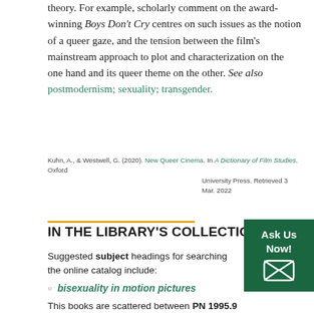theory. For example, scholarly comment on the award-winning Boys Don't Cry centres on such issues as the notion of a queer gaze, and the tension between the film's mainstream approach to plot and characterization on the one hand and its queer theme on the other. See also postmodernism; sexuality; transgender.
Kuhn, A., & Westwell, G. (2020). New Queer Cinema. In A Dictionary of Film Studies. Oxford University Press. Retrieved 3 Mar. 2022
IN THE LIBRARY'S COLLECTIONS
Suggested subject headings for searching the online catalog include:
bisexuality in motion pictures
This books are scattered between PN 1995.9